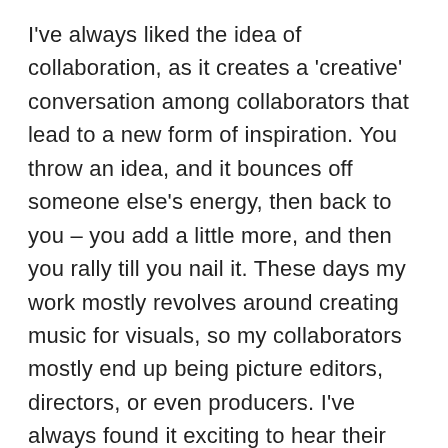I've always liked the idea of collaboration, as it creates a 'creative' conversation among collaborators that lead to a new form of inspiration. You throw an idea, and it bounces off someone else's energy, then back to you – you add a little more, and then you rally till you nail it. These days my work mostly revolves around creating music for visuals, so my collaborators mostly end up being picture editors, directors, or even producers. I've always found it exciting to hear their ideas behind the creation of their visual art – because listening to it gives you ideas to elevate their product and art to the next level. So yes, I get my inspirations from the storytelling of my collaborators!